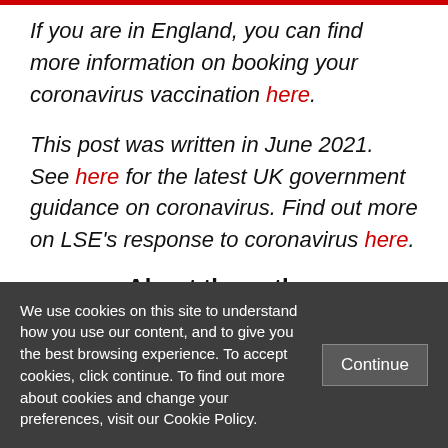If you are in England, you can find more information on booking your coronavirus vaccination here.
This post was written in June 2021. See here for the latest UK government guidance on coronavirus. Find out more on LSE's response to coronavirus here.
About the author
We use cookies on this site to understand how you use our content, and to give you the best browsing experience. To accept cookies, click continue. To find out more about cookies and change your preferences, visit our Cookie Policy.